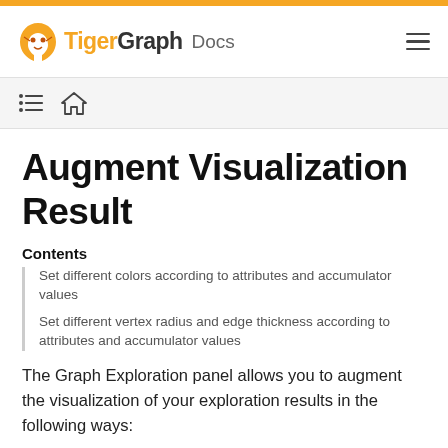TigerGraph Docs
Augment Visualization Result
Contents
Set different colors according to attributes and accumulator values
Set different vertex radius and edge thickness according to attributes and accumulator values
The Graph Exploration panel allows you to augment the visualization of your exploration results in the following ways: